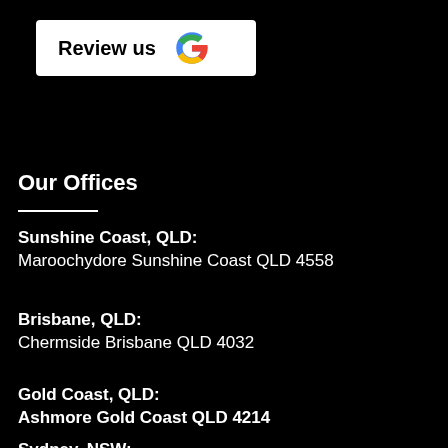[Figure (logo): Review us button with Google 'G' logo — white background, black bold text 'Review us', multicolor Google G icon]
Our Offices
Sunshine Coast, QLD:
Maroochydore Sunshine Coast QLD 4558
Brisbane, QLD:
Chermside Brisbane QLD 4032
Gold Coast, QLD:
Ashmore Gold Coast QLD 4214
Sydney, NSW: